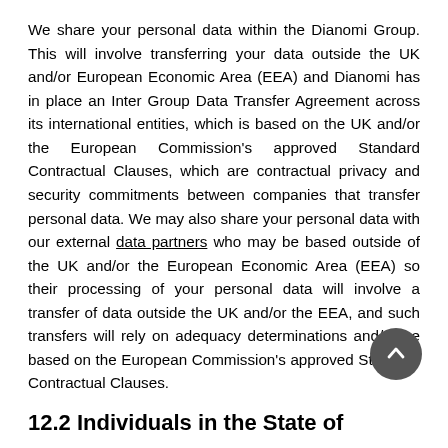We share your personal data within the Dianomi Group. This will involve transferring your data outside the UK and/or European Economic Area (EEA) and Dianomi has in place an Inter Group Data Transfer Agreement across its international entities, which is based on the UK and/or the European Commission's approved Standard Contractual Clauses, which are contractual privacy and security commitments between companies that transfer personal data. We may also share your personal data with our external data partners who may be based outside of the UK and/or the European Economic Area (EEA) so their processing of your personal data will involve a transfer of data outside the UK and/or the EEA, and such transfers will rely on adequacy determinations and/or be based on the European Commission's approved Standard Contractual Clauses.
12.2 Individuals in the State of